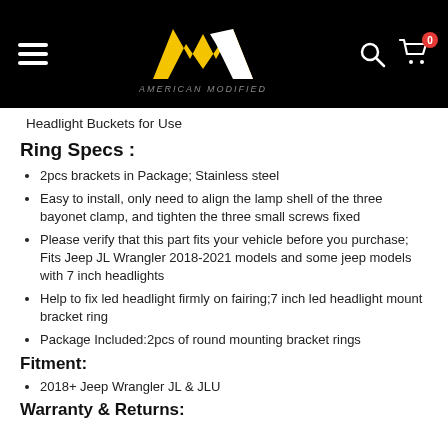American Modified — navigation header with logo, search, and cart icons
Headlight Buckets for Use
Ring Specs :
2pcs brackets in Package; Stainless steel
Easy to install, only need to align the lamp shell of the three bayonet clamp, and tighten the three small screws fixed
Please verify that this part fits your vehicle before you purchase; Fits Jeep JL Wrangler 2018-2021 models and some jeep models with 7 inch headlights
Help to fix led headlight firmly on fairing;7 inch led headlight mount bracket ring
Package Included:2pcs of round mounting bracket rings
Fitment:
2018+ Jeep Wrangler JL & JLU
Warranty & Returns: